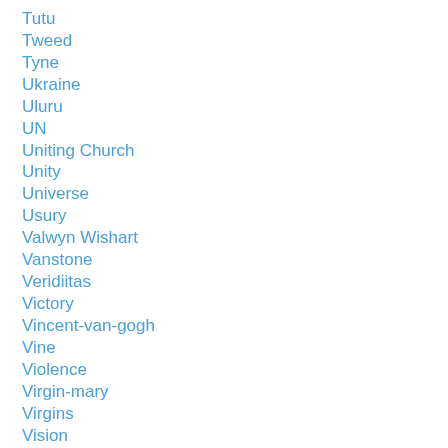Tutu
Tweed
Tyne
Ukraine
Uluru
UN
Uniting Church
Unity
Universe
Usury
Valwyn Wishart
Vanstone
Veridiitas
Victory
Vincent-van-gogh
Vine
Violence
Virgin-mary
Virgins
Vision